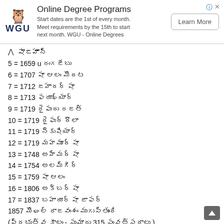[Figure (other): WGU Online Degree Programs advertisement banner with owl logo, description text, and Learn More button]
షాజహాన్
5 = 1659 u రంగజేబు
6 = 1707 షా ఆలం మొదట
7 = 1712 జహాదర్ షా
8 = 1713 ఫరూభ్ శయార్
9 = 1719 రైఫుదు రజత్
10 = 1719 రైఫుద్ దౌలా
11 = 1719 నెకుషియార్
12 = 1719 మహమూద్ షా
13 = 1748 అహ్మద్ షా
14 = 1754 అలమ్గీర్
15 = 1759 షా ఆలం
16 = 1806 అక్బర్ షా
17 = 1837 బహాదూర్ షా జాఫర్
1857 మొఘల్ రాజవంశం ముగుస్తుంది
(ప్రభుత్వ కాలం - సుమారు 315 సంవత్సరాలు.)
*బ్రిటిష్ రాజ్ (వైస్రాయ్)*